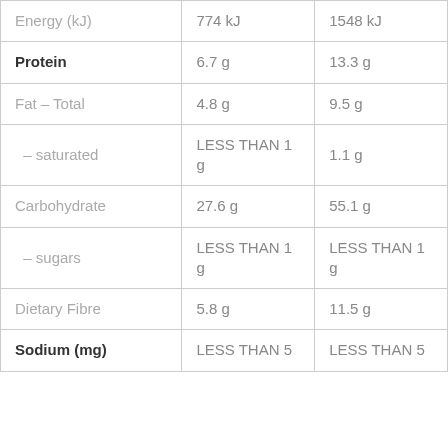|  | Per serving | Per 100g |
| --- | --- | --- |
| Energy (kJ) | 774 kJ | 1548 kJ |
| Protein | 6.7 g | 13.3 g |
| Fat – Total | 4.8 g | 9.5 g |
| – saturated | LESS THAN 1 g | 1.1 g |
| Carbohydrate | 27.6 g | 55.1 g |
| – sugars | LESS THAN 1 g | LESS THAN 1 g |
| Dietary Fibre | 5.8 g | 11.5 g |
| Sodium (mg) | LESS THAN 5 | LESS THAN 5 |